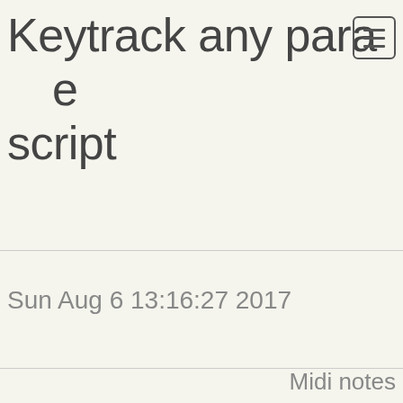Keytrack any parameter script
Sun Aug 6 13:16:27 2017
Midi notes